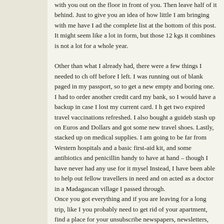with you out on the floor in front of you. Then leave half of it behind. Just to give you an idea of how little I am bringing with me have I added the complete list at the bottom of this post. It might seem like a lot in list form, but those 12 kgs it combines is not a lot for a whole year.
Other than what I already had, there were a few things I needed to check off before I left. I was running out of blank paged in my passport, so I had to get a new empty and boring one. I had to order another credit card from my bank, so I would have a backup in case I lost my current card. I had to get two expired travel vaccinations refreshed. I also bought a guidebook, stash up on Euros and Dollars and got some new travel shoes. Lastly, I stacked up on medical supplies. I am going to be far from Western hospitals and a basic first-aid kit, and some antibiotics and penicillin are handy to have at hand – though I have never had any use for it myself. Instead, I have been able to help out fellow travellers in need and once acted as a doctor in a Madagascan village I passed through.
Once you got everything and if you are leaving for a long trip, like I am, you probably need to get rid of your apartment, find a place for your stuff, unsubscribe newspapers, newsletters, insurances and other things you do not want to pay for at home, while you are not there. Then again, most of this can be done once you are already on the road. Realising that you are still paying for that expensive data package for the phone you are not using usually helps such things along.
Then there is the mental preparation. Leaving the safety and comfort